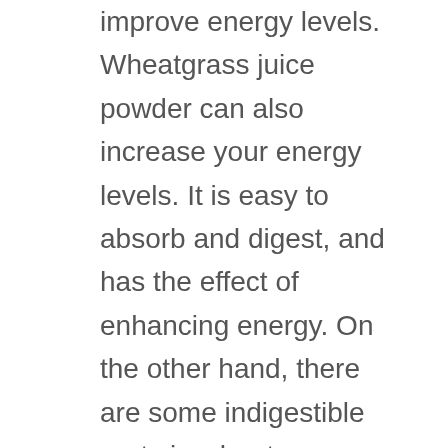improve energy levels. Wheatgrass juice powder can also increase your energy levels. It is easy to absorb and digest, and has the effect of enhancing energy. On the other hand, there are some indigestible parts in wheatgrass juice, such as cellulose, which can clear the intestines.
Good for gums: Wheatgrass juice powder can be used to prevent or treat gum problems. If you rinse your mouth with this water every day, it can relieve pain and heal gingivitis.
Exfoliating: Wheatgrass juice powder has many uses and benefits for your health. You can use it as a mask for your skin. It will exfoliate and help your skin rejuvenate, clean pores, and prevent